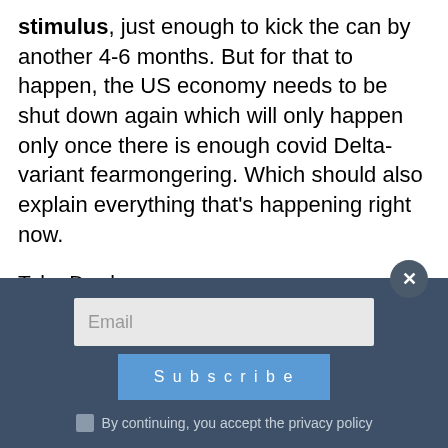stimulus, just enough to kick the can by another 4-6 months. But for that to happen, the US economy needs to be shut down again which will only happen only once there is enough covid Delta-variant fearmongering. Which should also explain everything that's happening right now.
Tyler Durden
Fri, 07/30/2021 – 11:10
Email
Subscribe
By continuing, you accept the privacy policy